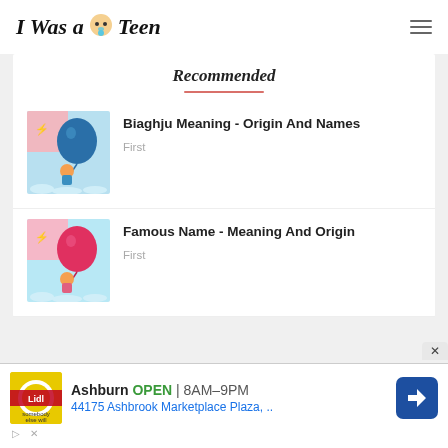I Was a Teen
Recommended
[Figure (illustration): Baby cartoon holding a dark blue balloon on pink and light blue background]
Biaghju Meaning - Origin And Names
First
[Figure (illustration): Baby cartoon holding a pink/red balloon on pink and light blue background]
Famous Name - Meaning And Origin
First
[Figure (infographic): Advertisement banner: Lidl store in Ashburn OPEN 8AM-9PM, 44175 Ashbrook Marketplace Plaza, with navigation arrow icon]